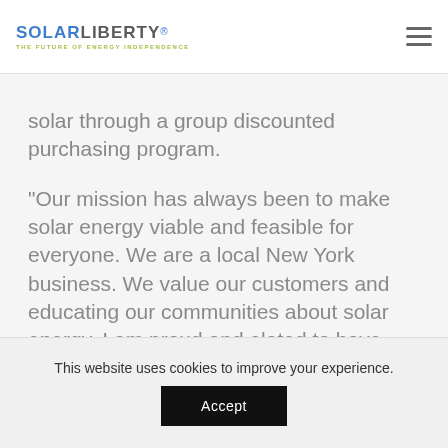SOLARLIBERTY® THE FUTURE OF ENERGY INDEPENDENCE
solar through a group discounted purchasing program.
“Our mission has always been to make solar energy viable and feasible for everyone. We are a local New York business. We value our customers and educating our communities about solar energy. I am proud and elated to have spent 15 years doing what I love, while helping other people and the environment,” states Adam Rizzo,
This website uses cookies to improve your experience.